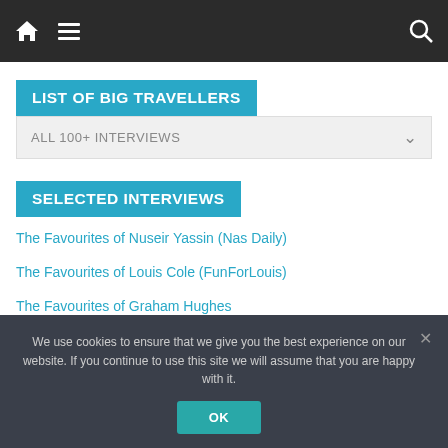Navigation bar with home icon, hamburger menu, and search icon
LIST OF BIG TRAVELLERS
ALL 100+ INTERVIEWS
SELECTED INTERVIEWS
The Favourites of Nuseir Yassin (Nas Daily)
The Favourites of Louis Cole (FunForLouis)
The Favourites of Graham Hughes
The Favourites of Gary Arndt
We use cookies to ensure that we give you the best experience on our website. If you continue to use this site we will assume that you are happy with it. OK